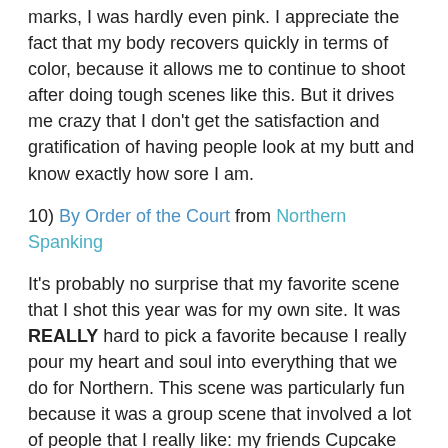marks, I was hardly even pink. I appreciate the fact that my body recovers quickly in terms of color, because it allows me to continue to shoot after doing tough scenes like this. But it drives me crazy that I don't get the satisfaction and gratification of having people look at my butt and know exactly how sore I am.
10) By Order of the Court from Northern Spanking
It's probably no surprise that my favorite scene that I shot this year was for my own site. It was REALLY hard to pick a favorite because I really pour my heart and soul into everything that we do for Northern. This scene was particularly fun because it was a group scene that involved a lot of people that I really like: my friends Cupcake SinClair and Harley Havik, plus Violet October, who I got to know and become friends with because of this shoot. Plus, Paul was the Top, and he's my favorite Top!
By Order of the Court was a custom film. It took a lot of planning to do: we had to rent a location, Violet flew in from Vegas for the shoot, and there were a ton of schedules to coordinate. I particularly like doing customs. I really enjoy the directing side of making a spanking video, and it's fun to direct from someone else's script. It just so happened that the script for this scene was a fantasy that I really enjoy: a judicial punishment. The film has no explicit setting but it has a generically